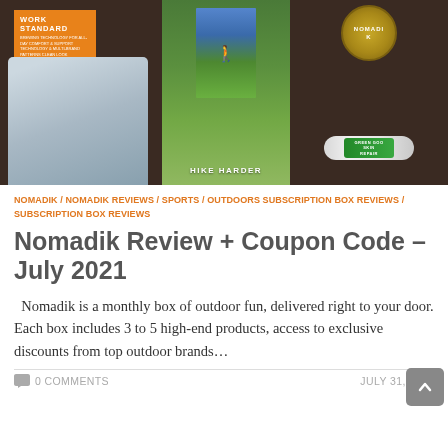[Figure (photo): Overhead shot of outdoor subscription box contents on dark wood surface: grey wool socks with orange Work Standard label, a hiking brochure showing a person hiking ('Hike Harder'), a green lip balm/skin repair stick, and a round Nomadik badge/coin.]
NOMADIK / NOMADIK REVIEWS / SPORTS / OUTDOORS SUBSCRIPTION BOX REVIEWS / SUBSCRIPTION BOX REVIEWS
Nomadik Review + Coupon Code – July 2021
Nomadik is a monthly box of outdoor fun, delivered right to your door. Each box includes 3 to 5 high-end products, access to exclusive discounts from top outdoor brands…
0 COMMENTS
JULY 31, 2021